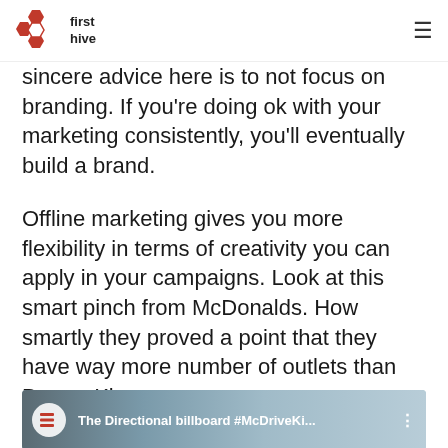first hive
sincere advice here is to not focus on branding. If you're doing ok with your marketing consistently, you'll eventually build a brand.
Offline marketing gives you more flexibility in terms of creativity you can apply in your campaigns. Look at this smart pinch from McDonalds. How smartly they proved a point that they have way more number of outlets than Burger King.
[Figure (screenshot): Embedded YouTube video thumbnail showing 'The Directional billboard #McDriveKi...' with a play button, channel icon, and vertical dots menu. Background shows a dark metal structure and blue sky.]